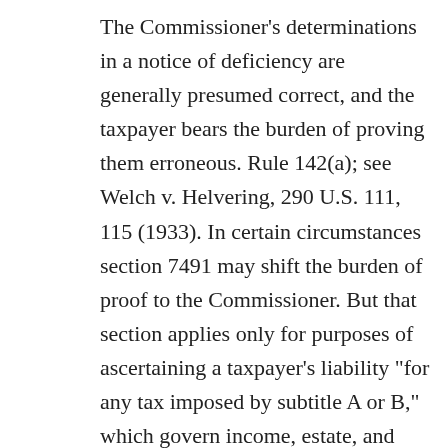The Commissioner's determinations in a notice of deficiency are generally presumed correct, and the taxpayer bears the burden of proving them erroneous. Rule 142(a); see Welch v. Helvering, 290 U.S. 111, 115 (1933). In certain circumstances section 7491 may shift the burden of proof to the Commissioner. But that section applies only for purposes of ascertaining a taxpayer's liability "for any tax imposed by subtitle A or B," which govern income, estate, and gift taxes. Sec. 7491(a)(1). Section 7491 has no application to a case such as this, which involves petitioner's liability for an excise tax determined under subtitle D. See Paschall v. Commissioner, 137 T.C. 8, 17 (2011); Repetto v. Commissioner, T.C. Memo.